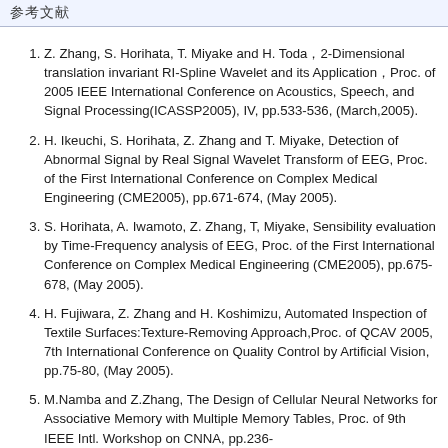参考文献
Z. Zhang, S. Horihata, T. Miyake and H. Toda，2-Dimensional translation invariant RI-Spline Wavelet and its Application，Proc. of 2005 IEEE International Conference on Acoustics, Speech, and Signal Processing(ICASSP2005), IV, pp.533-536, (March,2005).
H. Ikeuchi, S. Horihata, Z. Zhang and T. Miyake, Detection of Abnormal Signal by Real Signal Wavelet Transform of EEG, Proc. of the First International Conference on Complex Medical Engineering (CME2005), pp.671-674, (May 2005).
S. Horihata, A. Iwamoto, Z. Zhang, T, Miyake, Sensibility evaluation by Time-Frequency analysis of EEG, Proc. of the First International Conference on Complex Medical Engineering (CME2005), pp.675-678, (May 2005).
H. Fujiwara, Z. Zhang and H. Koshimizu, Automated Inspection of Textile Surfaces:Texture-Removing Approach,Proc. of QCAV 2005, 7th International Conference on Quality Control by Artificial Vision, pp.75-80, (May 2005).
M.Namba and Z.Zhang, The Design of Cellular Neural Networks for Associative Memory with Multiple Memory Tables, Proc. of 9th IEEE Intl. Workshop on CNNA, pp.236-